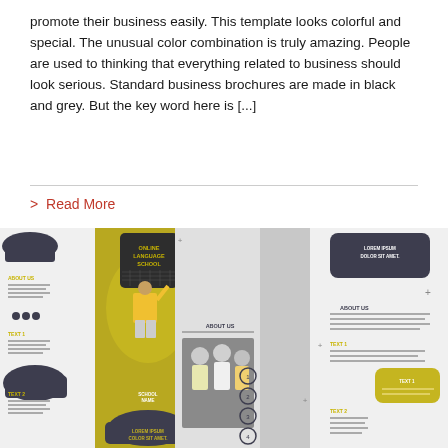promote their business easily. This template looks colorful and special. The unusual color combination is truly amazing. People are used to thinking that everything related to business should look serious. Standard business brochures are made in black and grey. But the key word here is [...]
> Read More
[Figure (photo): A promotional brochure design for an Online Language School, shown unfolded with yellow/olive and dark grey color scheme. Features a person writing on a blackboard, Lorem Ipsum placeholder text, 'About Us' sections, numbered circles, and smaller group photo.]